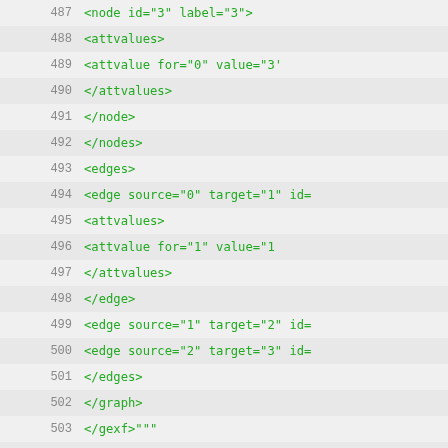Code listing lines 487–518 showing XML/GEXF graph format and Python test methods
487     <node id="3" label="3">
488         <attvalues>
489             <attvalue for="0" value="3'
490         </attvalues>
491         </node>
492     </nodes>
493     <edges>
494         <edge source="0" target="1" id=
495             <attvalues>
496                 <attvalue for="1" value="1
497             </attvalues>
498         </edge>
499         <edge source="1" target="2" id=
500         <edge source="2" target="3" id=
501     </edges>
502 </graph>
503 </gexf>"""
504         obtained = "\n".join(nx.gene
505         assert expected == obtained
506
507     def test_bool(self):
508         G = nx.Graph()
509         G.add_node(1, testattr=True)
510         fh = io.BytesIO()
511         nx.write_gexf(G, fh)
512         fh.seek(0)
513         H = nx.read_gexf(fh, node_ty
514         assert H.nodes[1]["testattr"
515
516     # Test for NaN, INF and -INF
517     def test_specials(self):
518         from math import isnan